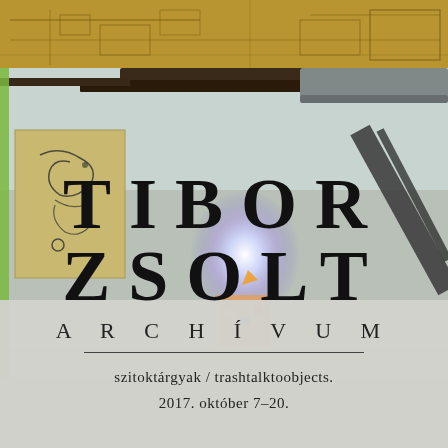[Figure (photo): Exhibition poster with gallery interior photo showing installation art with glowing light element, wooden ceiling beams, and a mounted artwork on left wall. Top strip shows golden sepia architectural map/blueprint. Left side has green accent bar.]
TIBOR ZSOLT
ARCHÍVUM
szitoktárgyak / trashtalktoobjects.
2017. október 7–20.